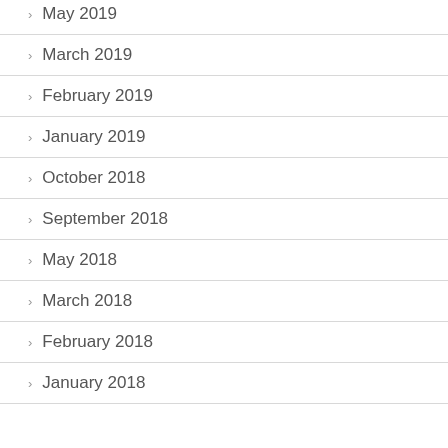May 2019
March 2019
February 2019
January 2019
October 2018
September 2018
May 2018
March 2018
February 2018
January 2018